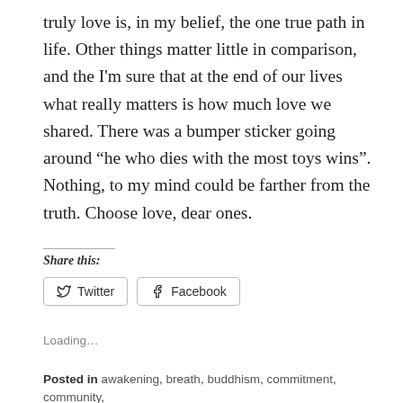truly love is, in my belief, the one true path in life. Other things matter little in comparison, and the I'm sure that at the end of our lives what really matters is how much love we shared. There was a bumper sticker going around “he who dies with the most toys wins”. Nothing, to my mind could be farther from the truth. Choose love, dear ones.
Share this:
Loading...
Posted in awakening, breath, buddhism, commitment, community, compassion, courage, creativity, devotion, emotion, emotional healing,